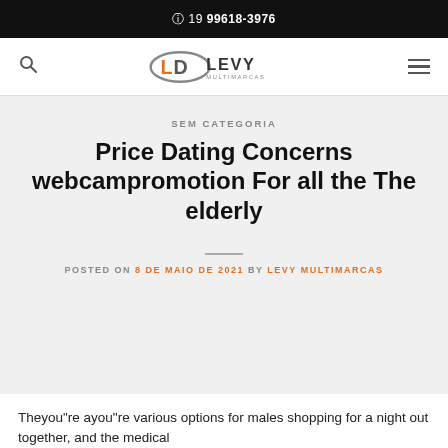⊕ 19 99618-3976
[Figure (logo): Levy Multimarcas logo with stylized L and D mark in orange and grey text]
SEM CATEGORIA
Price Dating Concerns webcampromotion For all the The elderly
POSTED ON 8 DE MAIO DE 2021 BY LEVY MULTIMARCAS
Theyou"re ayou"re various options for males shopping for a night out together, and the medical